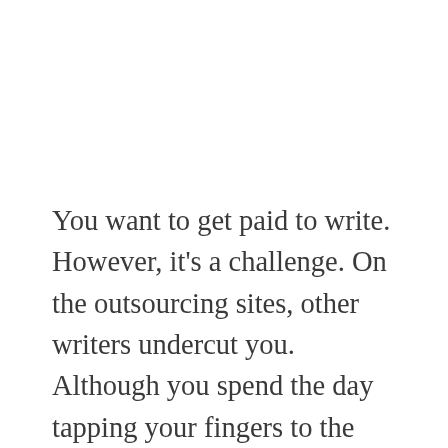You want to get paid to write. However, it's a challenge. On the outsourcing sites, other writers undercut you. Although you spend the day tapping your fingers to the